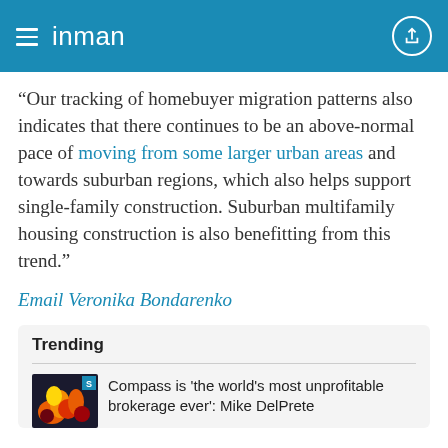inman
“Our tracking of homebuyer migration patterns also indicates that there continues to be an above-normal pace of moving from some larger urban areas and towards suburban regions, which also helps support single-family construction. Suburban multifamily housing construction is also benefitting from this trend.”
Email Veronika Bondarenko
Trending
Compass is 'the world's most unprofitable brokerage ever': Mike DelPrete